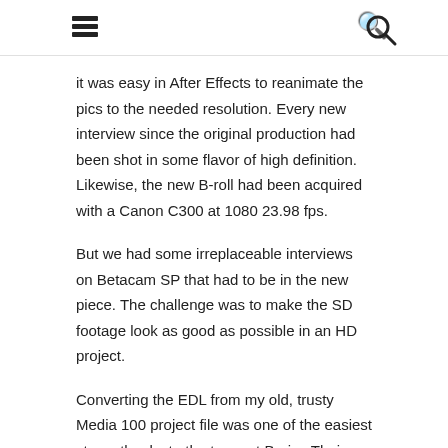☰  🔍
it was easy in After Effects to reanimate the pics to the needed resolution. Every new interview since the original production had been shot in some flavor of high definition.  Likewise, the new B-roll had been acquired with a Canon C300 at 1080 23.98 fps.
But we had some irreplaceable interviews on Betacam SP that had to be in the new piece. The challenge was to make the SD footage look as good as possible in an HD project.
Converting the EDL from my old, trusty Media 100 project file was one of the easiest steps, thanks to the team at Boris.  Their current version of the Media 100 application opened the old project easily and created an XML I could read into Premiere Pro CS6, our new edit platform of